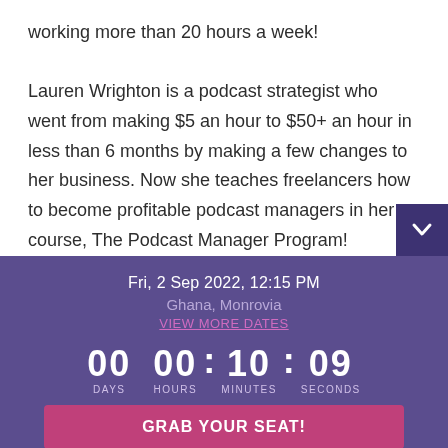working more than 20 hours a week!

Lauren Wrighton is a podcast strategist who went from making $5 an hour to $50+ an hour in less than 6 months by making a few changes to her business. Now she teaches freelancers how to become profitable podcast managers in her course, The Podcast Manager Program!
Fri, 2 Sep 2022, 12:15 PM
Ghana, Monrovia
VIEW MORE DATES
00 DAYS  00 HOURS : 10 MINUTES : 09 SECONDS
GRAB YOUR SEAT!